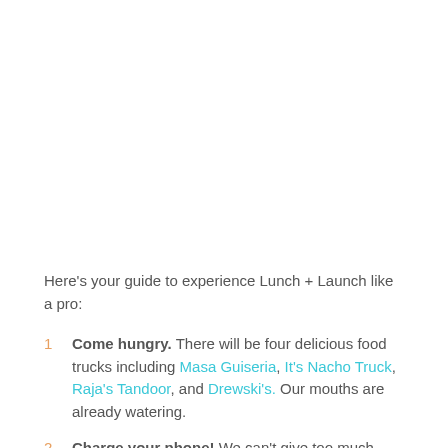Here's your guide to experience Lunch + Launch like a pro:
Come hungry. There will be four delicious food trucks including Masa Guiseria, It's Nacho Truck, Raja's Tandoor, and Drewski's. Our mouths are already watering.
Charge your phone! We can't give too much